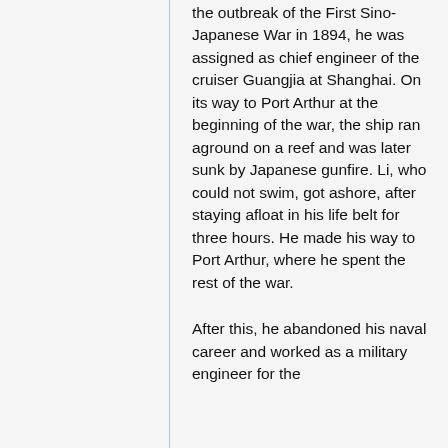the outbreak of the First Sino-Japanese War in 1894, he was assigned as chief engineer of the cruiser Guangjia at Shanghai. On its way to Port Arthur at the beginning of the war, the ship ran aground on a reef and was later sunk by Japanese gunfire. Li, who could not swim, got ashore, after staying afloat in his life belt for three hours. He made his way to Port Arthur, where he spent the rest of the war.
After this, he abandoned his naval career and worked as a military engineer for the